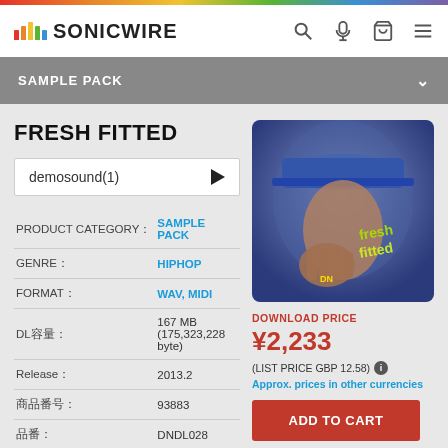SONICWIRE
SAMPLE PACK
FRESH FITTED
demosound(1)
PRODUCT CATEGORY : SAMPLE PACK
GENRE : HIPHOP
FORMAT : WAV, MIDI
DL容量 : 167 MB (175,323,228 byte)
Release : 2013.2
商品番号 : 93883
品番 : DNDL028
MAKER : DN LOOPS
[Figure (photo): Album cover for Fresh Fitted showing a person wearing a blue fitted cap with yellow/green graffiti text reading 'Fresh Fitted' and DN logo]
DOWNLOAD PRICE
¥2,233
(LIST PRICE GBP 12.58)
Approx. prices in other currencies
ADD TO CART